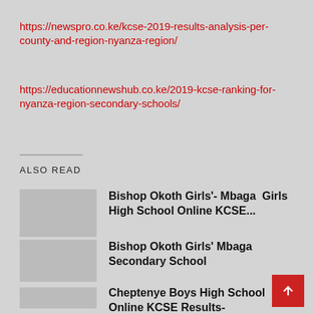https://newspro.co.ke/kcse-2019-results-analysis-per-county-and-region-nyanza-region/
https://educationnewshub.co.ke/2019-kcse-ranking-for-nyanza-region-secondary-schools/
ALSO READ
Bishop Okoth Girls'- Mbaga  Girls High School Online KCSE...
Bishop Okoth Girls' Mbaga Secondary School
Cheptenye Boys High School Online KCSE Results-Performance...